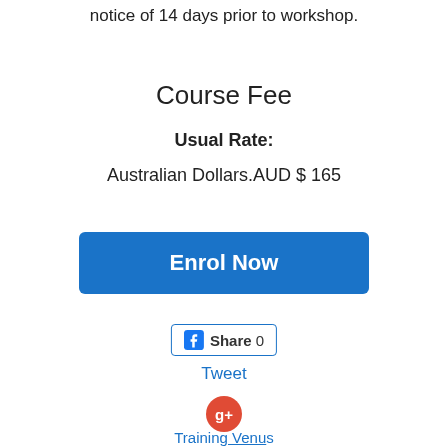notice of 14 days prior to workshop.
Course Fee
Usual Rate:
Australian Dollars.AUD $ 165
Enrol Now
Share 0
Tweet
[Figure (logo): Google+ circular red icon button]
Training Venus